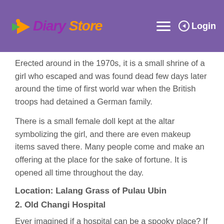Diary Store — Login
Erected around in the 1970s, it is a small shrine of a girl who escaped and was found dead few days later around the time of first world war when the British troops had detained a German family.
There is a small female doll kept at the altar symbolizing the girl, and there are even makeup items saved there. Many people come and make an offering at the place for the sake of fortune. It is opened all time throughout the day.
Location: Lalang Grass of Pulau Ubin
2. Old Changi Hospital
Ever imagined if a hospital can be a spooky place? If not, then this world war hospital in Singapore is going to be the biggest shock for you. Constructed as a means to support the British soldiers but the hospital was later used by the Japanese troops as an